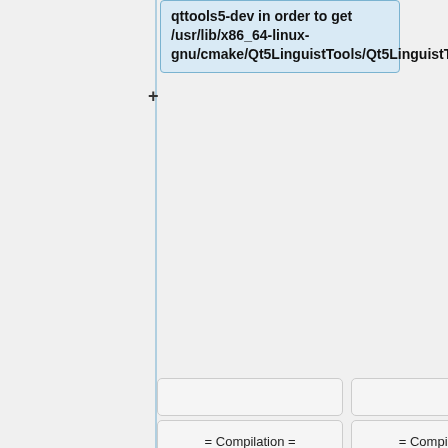qttools5-dev in order to get /usr/lib/x86_64-linux-gnu/cmake/Qt5LinguistTools/Qt5LinguistToolsConfig.cmake.
= Compilation =
= Compilation =
[https://cmake.org/download/ CMake] is a cross-platform free software program for managing the build process of software using a
[https://cmake.org/download/ CMake] is a cross-platform free software program for managing the build process of software using a